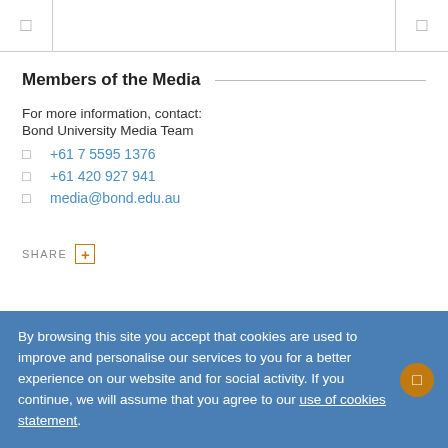Members of the Media
For more information, contact:
Bond University Media Team
☎ +61 7 5595 1376
📱 +61 420 927 941
✉ media@bond.edu.au
SHARE +
By browsing this site you accept that cookies are used to improve and personalise our services to you for a better experience on our website and for social activity. If you continue, we will assume that you agree to our use of cookies statement.